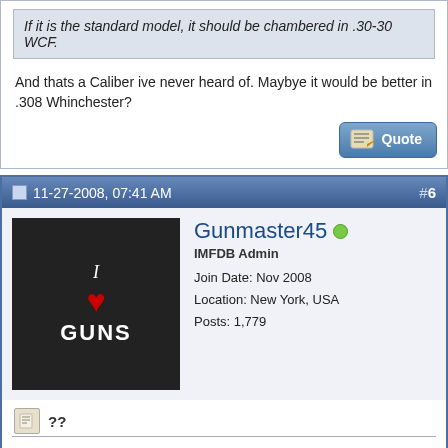If it is the standard model, it should be chambered in .30-30 WCF.
And thats a Caliber ive never heard of. Maybye it would be better in .308 Whinchester?
11-27-2008, 07:41 AM  #6
[Figure (photo): Avatar of user Gunmaster45: black t-shirt with 'I GUNS' text and heart graphic]
Gunmaster45
IMFDB Admin
Join Date: Nov 2008
Location: New York, USA
Posts: 1,779
??
Quote:
Originally Posted by Ultraussie
And thats a Caliber ive never heard of. Maybye it would be better in .308 Whinchester?
Never heard of .30-30?! The .30-30 was a rifle cartridge first invented as a new round to fire the smokeless powder, being first fired in the Winchester 1894 rifle, a gun built specially to fire the high-pressure round. It is an infamous rifle cartridge.